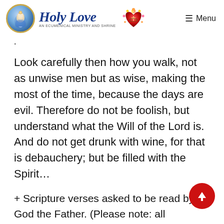Holy Love — An Ecumenical Ministry and Shrine | Menu
.
Look carefully then how you walk, not as unwise men but as wise, making the most of the time, because the days are evil. Therefore do not be foolish, but understand what the Will of the Lord is. And do not get drunk with wine, for that is debauchery; but be filled with the Spirit…
+ Scripture verses asked to be read by God the Father. (Please note: all Scripture given by